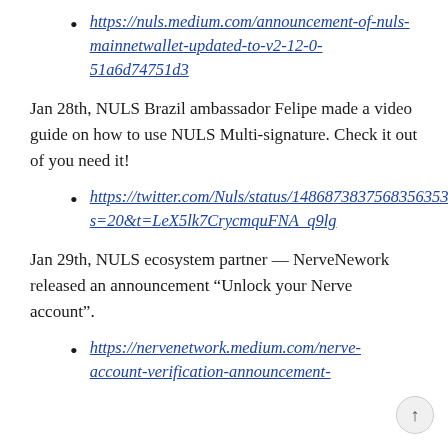https://nuls.medium.com/announcement-of-nuls-mainnetwallet-updated-to-v2-12-0-51a6d74751d3
Jan 28th, NULS Brazil ambassador Felipe made a video guide on how to use NULS Multi-signature. Check it out of you need it!
https://twitter.com/Nuls/status/1486873837568356353?s=20&t=LeX5lk7CrycmquFNA_q9lg
Jan 29th, NULS ecosystem partner — NerveNework released an announcement “Unlock your Nerve account”.
https://nervenetwork.medium.com/nerve-account-verification-announcement-